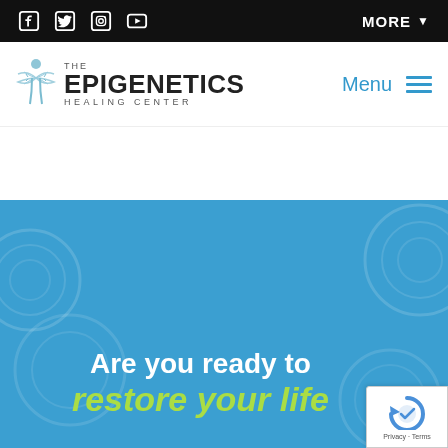Social icons (Facebook, Twitter, Instagram, YouTube) | MORE
[Figure (logo): The Epigenetics Healing Center logo with stylized figure and DNA helix]
Menu ≡
[Figure (illustration): Blue hero banner with decorative hexagon/circle pattern and text: Are you ready to restore your life]
Are you ready to restore your life
[Figure (logo): reCAPTCHA badge with Privacy and Terms links]